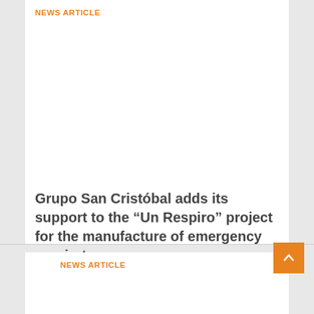NEWS ARTICLE
Grupo San Cristóbal adds its support to the “Un Respiro” project for the manufacture of emergency respirators
Read More »
NEWS ARTICLE